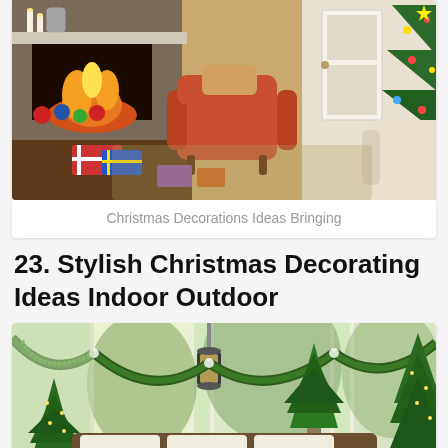[Figure (photo): Living room decorated for Christmas with a fireplace, orange armchair, Christmas tree with presents, and holiday decorations.]
Christmas Decorations Ideas Bringing
23. Stylish Christmas Decorating Ideas Indoor Outdoor
[Figure (photo): Sunroom or conservatory decorated for Christmas with green garland swags across large windows, small potted evergreen trees, wicker furniture with cream cushions, and lush greenery outside.]